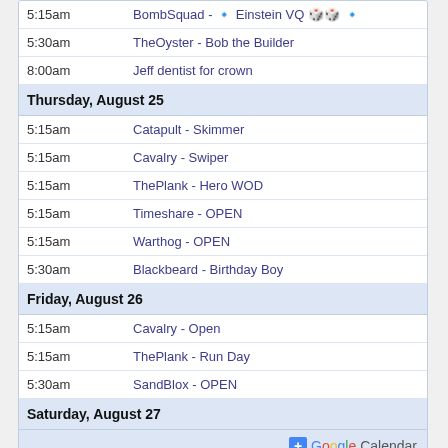| Time | Event |
| --- | --- |
| 5:15am | BombSquad - 🔹 Einstein VQ 🎲🎲 🔹 |
| 5:30am | TheOyster - Bob the Builder |
| 8:00am | Jeff dentist for crown |
| Thursday, August 25 |  |
| 5:15am | Catapult - Skimmer |
| 5:15am | Cavalry - Swiper |
| 5:15am | ThePlank - Hero WOD |
| 5:15am | Timeshare - OPEN |
| 5:15am | Warthog - OPEN |
| 5:30am | Blackbeard - Birthday Boy |
| Friday, August 26 |  |
| 5:15am | Cavalry - Open |
| 5:15am | ThePlank - Run Day |
| 5:30am | SandBlox - OPEN |
| Saturday, August 27 |  |
Links